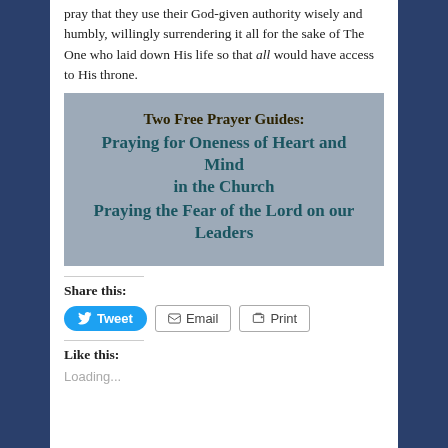pray that they use their God-given authority wisely and humbly, willingly surrendering it all for the sake of The One who laid down His life so that all would have access to His throne.
[Figure (infographic): Grey promotional box with text: 'Two Free Prayer Guides: Praying for Oneness of Heart and Mind in the Church / Praying the Fear of the Lord on our Leaders']
Share this:
Tweet  Email  Print
Like this:
Loading...